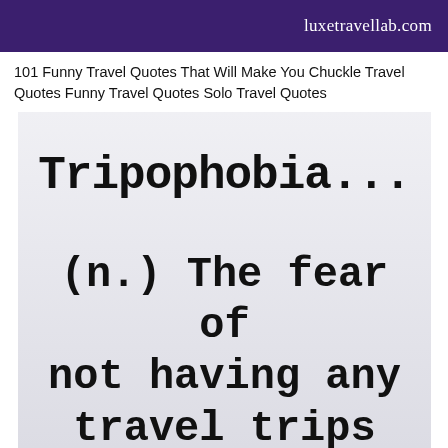luxetravellab.com
101 Funny Travel Quotes That Will Make You Chuckle Travel Quotes Funny Travel Quotes Solo Travel Quotes
[Figure (illustration): Light grey/blue background image with typewriter-font text reading 'Tripophobia...' on top, then '(n.) The fear of not having any travel trips' below in large bold monospace font.]